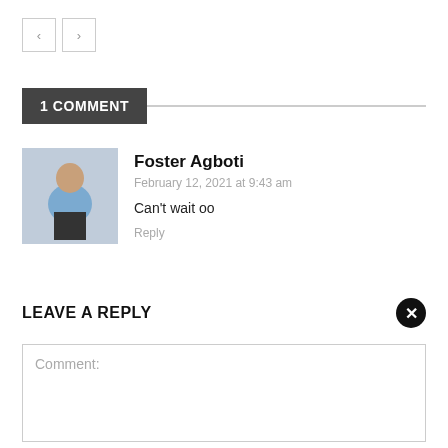[Figure (other): Navigation previous/next arrow buttons (left chevron and right chevron in bordered boxes)]
1 COMMENT
[Figure (photo): Avatar photo of Foster Agboti - a person standing outdoors in a light blue shirt]
Foster Agboti
February 12, 2021 at 9:43 am
Can't wait oo
Reply
LEAVE A REPLY
[Figure (other): Close/dismiss button - black circle with white X]
Comment: